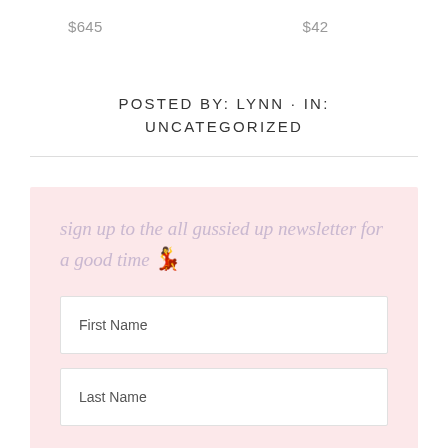$645    $42
POSTED BY: LYNN · IN: UNCATEGORIZED
sign up to the all gussied up newsletter for a good time 💃
First Name
Last Name